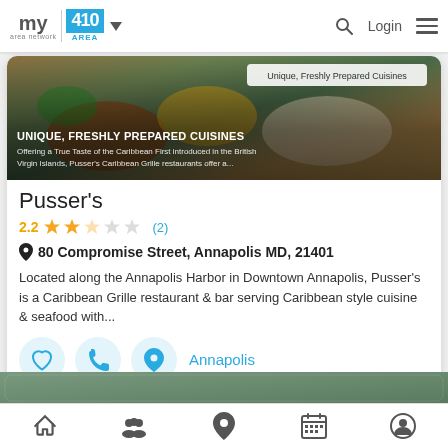my area network | 410 AREA | Login
[Figure (photo): Food photo showing Caribbean cuisine dishes with overlay text: UNIQUE, FRESHLY PREPARED CUISINES. Offering a True Taste of the Caribbean First introduced in the British Virgin Islands, Pusser's Caribbean Grille restaurants offer a... Tooltip: Unique, Freshly Prepared Cuisines]
Pusser's
2.2  (2)
80 Compromise Street, Annapolis MD, 21401
Located along the Annapolis Harbor in Downtown Annapolis, Pusser's is a Caribbean Grille restaurant & bar serving Caribbean style cuisine & seafood with...
Annapolis
Home | Groups | Location | Calendar | Profile